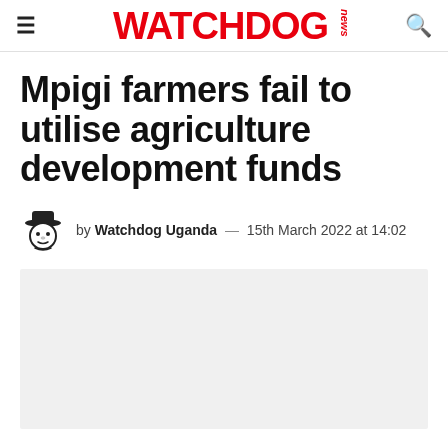WATCHDOG news
Mpigi farmers fail to utilise agriculture development funds
by Watchdog Uganda — 15th March 2022 at 14:02
[Figure (photo): Gray placeholder image area below the article byline]